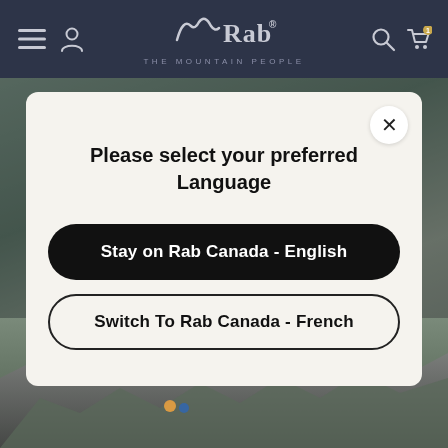[Figure (screenshot): Rab brand navigation bar with dark navy background, hamburger menu icon, user icon on left, Rab logo with mountain bird motif and 'THE MOUNTAIN PEOPLE' tagline in center, search and cart icons on right]
[Figure (screenshot): Language selection modal dialog on Rab Canada website. White/cream rounded modal with close (X) button, title 'Please select your preferred Language', black rounded button 'Stay on Rab Canada - English', outlined rounded button 'Switch To Rab Canada - French'. Behind modal is a blurred mountain/glacier photo.]
Please select your preferred Language
Stay on Rab Canada - English
Switch To Rab Canada - French